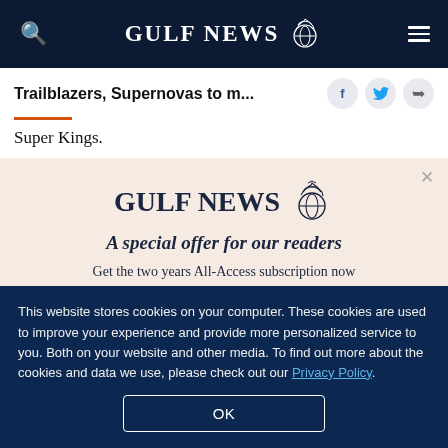GULF NEWS
Trailblazers, Supernovas to m...
Super Kings.
[Figure (logo): Gulf News logo with eagle emblem and text 'A special offer for our readers' and 'Get the two years All-Access subscription now']
This website stores cookies on your computer. These cookies are used to improve your experience and provide more personalized service to you. Both on your website and other media. To find out more about the cookies and data we use, please check out our Privacy Policy.